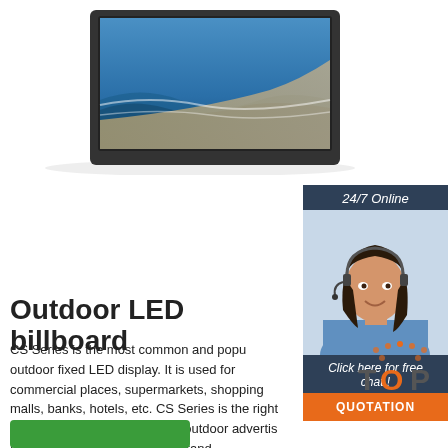[Figure (photo): Angled outdoor LED billboard/monitor display showing an ocean beach scene with waves and sand, dark frame, on white background]
[Figure (infographic): 24/7 Online chat widget with dark navy banner saying '24/7 Online', photo of smiling woman with headset, 'Click here for free chat!' text in italic white, and orange QUOTATION button]
Outdoor LED billboard
CS Series is the most common and popular outdoor fixed LED display. It is used for outdoor commercial places, supermarkets, shopping malls, banks, hotels, etc. CS Series is the right one to choose if you need the outdoor advertising LED billboard to spread your brand.
[Figure (logo): TOP logo with orange dot pattern above letters T-O-P, where O is orange]